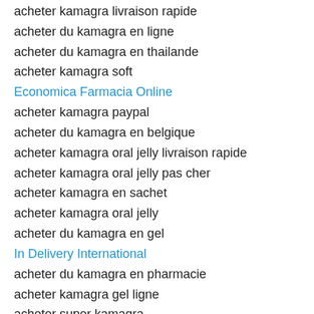acheter kamagra livraison rapide
acheter du kamagra en ligne
acheter du kamagra en thailande
acheter kamagra soft
Economica Farmacia Online
acheter kamagra paypal
acheter du kamagra en belgique
acheter kamagra oral jelly livraison rapide
acheter kamagra oral jelly pas cher
acheter kamagra en sachet
acheter kamagra oral jelly
acheter du kamagra en gel
In Delivery International
acheter du kamagra en pharmacie
acheter kamagra gel ligne
acheter super kamagra
acheter kamagra avec mastercard
acheter kamagra thailand
acheter kamagra pas cher
acheter kamagra site fiable
ou acheter kamagra